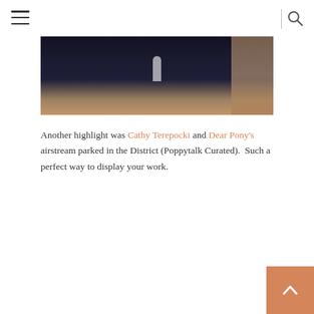Navigation header with hamburger menu and search icon
[Figure (photo): Dark close-up photo showing dark fabric/material with a small white cylindrical object, and what appears to be wood grain texture on the right side]
Another highlight was Cathy Terepocki and Dear Pony's airstream parked in the District (Poppytalk Curated).  Such a perfect way to display your work.
[Figure (photo): Photo of a classic silver Airstream trailer parked indoors at what appears to be a trade show or curated market event. The Airstream badge is visible on the front. String lights hang from the ceiling above and greenery is visible around the trailer.]